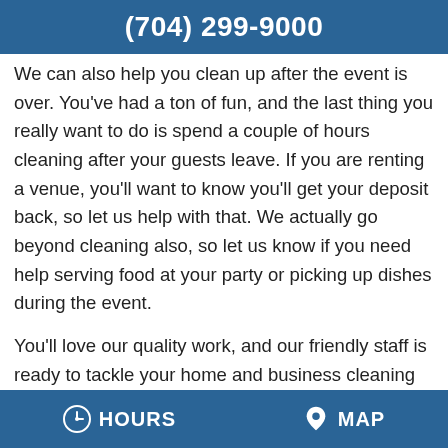(704) 299-9000
We can also help you clean up after the event is over. You’ve had a ton of fun, and the last thing you really want to do is spend a couple of hours cleaning after your guests leave. If you are renting a venue, you’ll want to know you’ll get your deposit back, so let us help with that. We actually go beyond cleaning also, so let us know if you need help serving food at your party or picking up dishes during the event.
You’ll love our quality work, and our friendly staff is ready to tackle your home and business cleaning needs. We have been providing the very best in reliable maid services since 2007 with a growing list of regular customers. Let us show you
HOURS   MAP